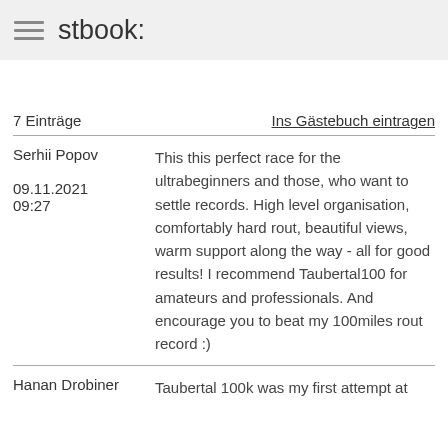stbook:
7 Einträge
Ins Gästebuch eintragen
Serhii Popov
09.11.2021 09:27
This this perfect race for the ultrabeginners and those, who want to settle records. High level organisation, comfortably hard rout, beautiful views, warm support along the way - all for good results! I recommend Taubertal100 for amateurs and professionals. And encourage you to beat my 100miles rout record :)
Hanan Drobiner
Taubertal 100k was my first attempt at